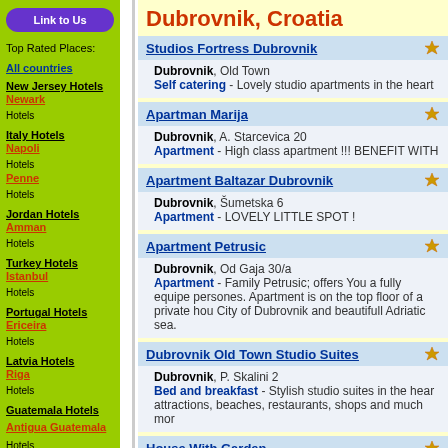Dubrovnik, Croatia
Link to Us
Top Rated Places:
All countries
New Jersey Hotels
Newark Hotels
Italy Hotels
Napoli Hotels
Penne Hotels
Jordan Hotels
Amman Hotels
Turkey Hotels
Istanbul Hotels
Portugal Hotels
Ericeira Hotels
Latvia Hotels
Riga Hotels
Guatemala Hotels
Antigua Guatemala Hotels
Belgium Hotels
Antwerp Hotels
Studios Fortress Dubrovnik
Dubrovnik, Old Town
Self catering - Lovely studio apartments in the heart
Apartman Marija
Dubrovnik, A. Starcevica 20
Apartment - High class apartment !!! BENEFIT WITH
Apartment Baltazar Dubrovnik
Dubrovnik, Šumetska 6
Apartment - LOVELY LITTLE SPOT !
Apartment Petrusic
Dubrovnik, Od Gaja 30/a
Apartment - Family Petrusic; offers You a fully equipe persones. Apartment is on the top floor of a private hou City of Dubrovnik and beautifull Adriatic sea.
Dubrovnik Old Town Studio Suites
Dubrovnik, P. Skalini 2
Bed and breakfast - Stylish studio suites in the hear attractions, beaches, restaurants, shops and much mor
House With Garden